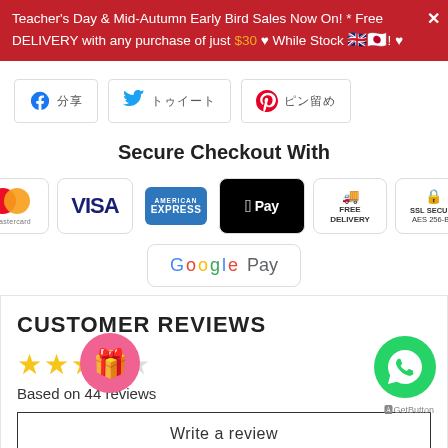Teacher's Day & Mid-Autumn Early Bird Sales Now On! * Free DELIVERY with any purchase of just $30 ♥ While Stock Lasts! ♥
[Figure (screenshot): Social share buttons: Facebook (share), Twitter (tweet), Pinterest (pin) with CJK text labels]
Secure Checkout With
[Figure (infographic): Payment method badges: Mastercard, VISA, American Express, Apple Pay, Free Delivery, SSL Secure AES 256-BIT, Google Pay]
CUSTOMER REVIEWS
[Figure (infographic): 3.5 star rating (3 full stars and 1 half star out of 5)]
Based on 44 reviews
Write a review